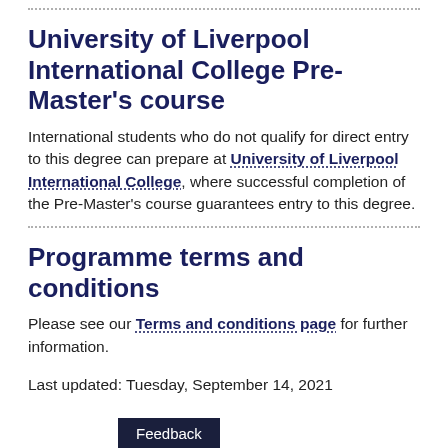University of Liverpool International College Pre-Master's course
International students who do not qualify for direct entry to this degree can prepare at University of Liverpool International College, where successful completion of the Pre-Master's course guarantees entry to this degree.
Programme terms and conditions
Please see our Terms and conditions page for further information.
Last updated: Tuesday, September 14, 2021
Feedback